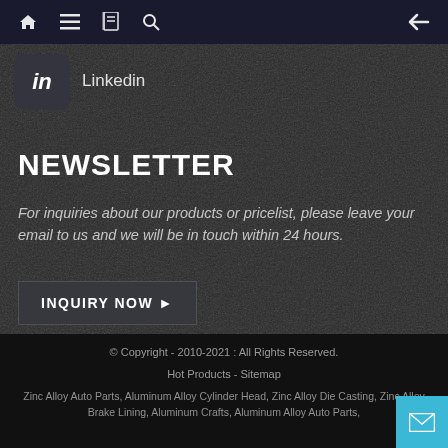Navigation bar with home, menu, book, search icons and back arrow
[Figure (logo): LinkedIn badge icon with 'in' text]
Linkedin
NEWSLETTER
For inquiries about our products or pricelist, please leave your email to us and we will be in touch within 24 hours.
INQUIRY NOW ▶
© Copyright - 2010-2021 : All Rights Reserved.
Hot Products - Sitemap
Zinc Alloy Auto Parts, Aluminum Alloy Cylinder Head, Zinc Alloy Die Casting, Zinc Alloy Brake Lining, Aluminum Crafts, Aluminum Alloy Auto Parts,